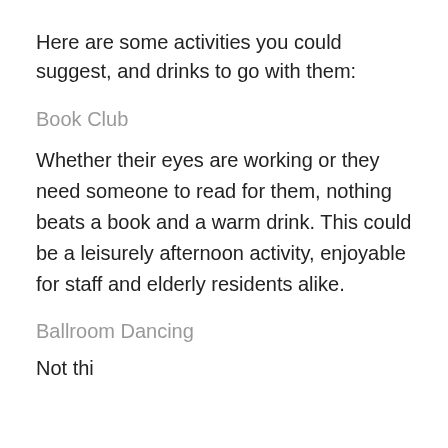Here are some activities you could suggest, and drinks to go with them:
Book Club
Whether their eyes are working or they need someone to read for them, nothing beats a book and a warm drink. This could be a leisurely afternoon activity, enjoyable for staff and elderly residents alike.
Ballroom Dancing
Not this was a cont...